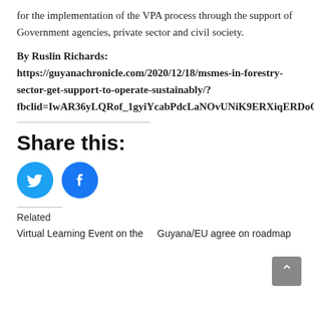for the implementation of the VPA process through the support of Government agencies, private sector and civil society.
By Ruslin Richards: https://guyanachronicle.com/2020/12/18/msmes-in-forestry-sector-get-support-to-operate-sustainably/?fbclid=IwAR36yLQRof_1gyiYcabPdcLaNOvUNiK9ERXiqERDoOedmPJCh4SDvODSQT0
Share this:
[Figure (infographic): Twitter and Facebook share buttons as circular icons (blue circles with white bird and f logos)]
Related
Virtual Learning Event on the
Guyana/EU agree on roadmap